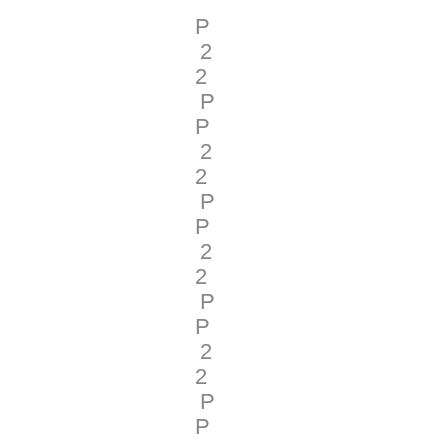P
2
P
2
P
2
P
2
P
2
P
2
P
2
P
2
P
2
P
2
P